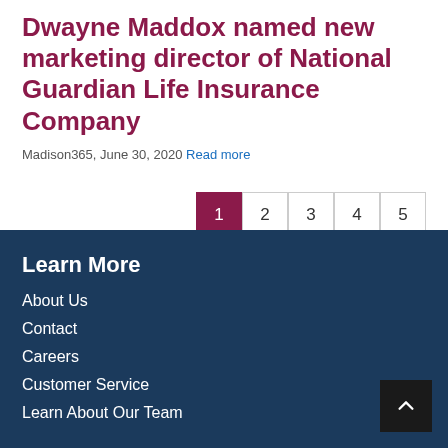Dwayne Maddox named new marketing director of National Guardian Life Insurance Company
Madison365, June 30, 2020 Read more
1 2 3 4 5
Learn More
About Us
Contact
Careers
Customer Service
Learn About Our Team